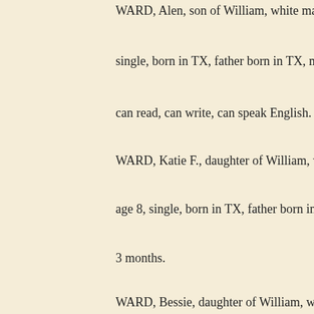WARD, Alen, son of William, white male, born September 18...
single, born in TX, father born in TX, mother born in TX, in s...
can read, can write, can speak English.
WARD, Katie F., daughter of William, white female, born Aug...
age 8, single, born in TX, father born in TX, mother born in T...
3 months.
WARD, Bessie, daughter of William, white female, born Octo...
age 6, single, born in TX, father born in TX, mother born in T...
WARD, Hazle L., son of William, white male, born October 1...
single, born in TX, father born in TX, mother born in TX.
WARD, Hisey L., son of William, white male, born December...